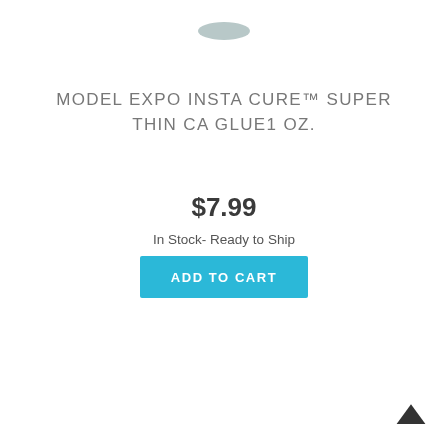[Figure (photo): Partial top view of a small bottle/container cap, cropped at the top of the page]
MODEL EXPO INSTA CURE™ SUPER THIN CA GLUE1 OZ.
$7.99
In Stock- Ready to Ship
ADD TO CART